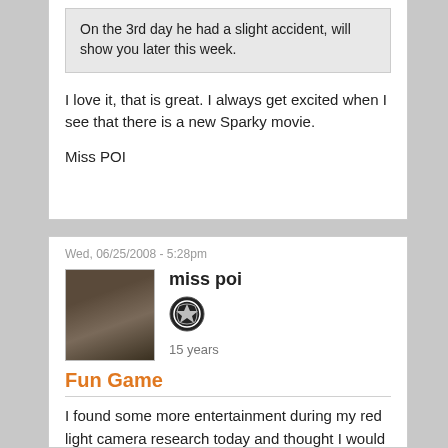On the 3rd day he had a slight accident, will show you later this week.
I love it, that is great. I always get excited when I see that there is a new Sparky movie.

Miss POI
Wed, 06/25/2008 - 5:28pm
miss poi
15 years
Fun Game
I found some more entertainment during my red light camera research today and thought I would share it with the rest of you.
Here is a link to a page that has a fun game called